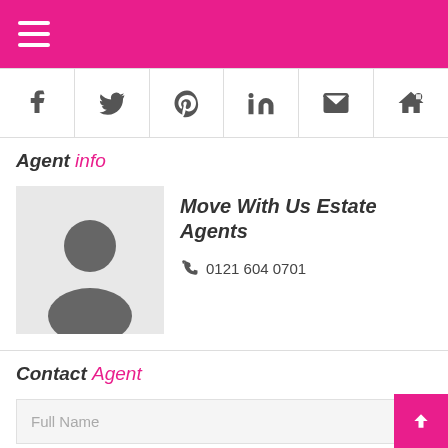Navigation menu header bar
[Figure (screenshot): Social media icon row with Facebook, Twitter, Pinterest, LinkedIn, Email, and Home icons]
Agent info
[Figure (photo): Placeholder person/avatar silhouette icon on grey background]
Move With Us Estate Agents
0121 604 0701
Contact Agent
Full Name
Phone
Email